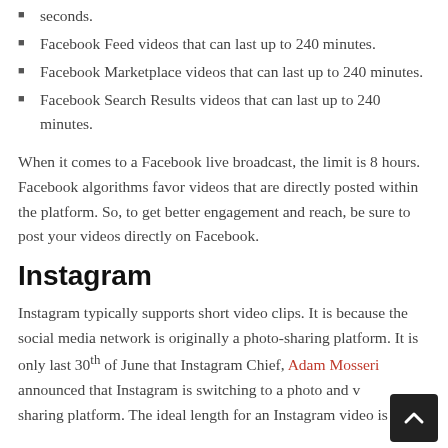seconds.
Facebook Feed videos that can last up to 240 minutes.
Facebook Marketplace videos that can last up to 240 minutes.
Facebook Search Results videos that can last up to 240 minutes.
When it comes to a Facebook live broadcast, the limit is 8 hours. Facebook algorithms favor videos that are directly posted within the platform. So, to get better engagement and reach, be sure to post your videos directly on Facebook.
Instagram
Instagram typically supports short video clips. It is because the social media network is originally a photo-sharing platform. It is only last 30th of June that Instagram Chief, Adam Mosseri announced that Instagram is switching to a photo and video sharing platform. The ideal length for an Instagram video is 30